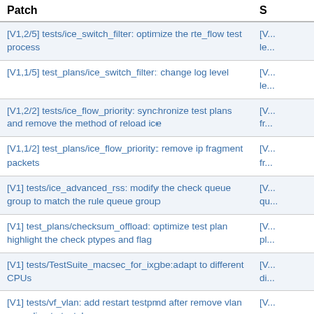| Patch | S |
| --- | --- |
| [V1,2/5] tests/ice_switch_filter: optimize the rte_flow test process | [V...le... |
| [V1,1/5] test_plans/ice_switch_filter: change log level | [V...le... |
| [V1,2/2] tests/ice_flow_priority: synchronize test plans and remove the method of reload ice | [V...fr... |
| [V1,1/2] test_plans/ice_flow_priority: remove ip fragment packets | [V...fr... |
| [V1] tests/ice_advanced_rss: modify the check queue group to match the rule queue group | [V...qu... |
| [V1] test_plans/checksum_offload: optimize test plan highlight the check ptypes and flag | [V...pl... |
| [V1] tests/TestSuite_macsec_for_ixgbe:adapt to different CPUs | [V...di... |
| [V1] tests/vf_vlan: add restart testpmd after remove vlan according to testplan | [V...re... |
| [V1,2/2] test_plans/kernelpf_iavf: remove duplicate case vf_tso | [V...ca... |
| [V1,1/2] tests/kernelpf_iavf: remove duplicate case vf_tso | [V...ca... |